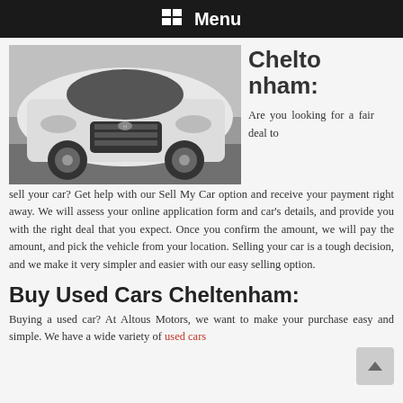Menu
[Figure (photo): White Hyundai SUV (Tucson) photographed from the front-left angle on a grey surface, showing the grille, headlights, and alloy wheels.]
Cheltenham:
Are you looking for a fair deal to sell your car? Get help with our Sell My Car option and receive your payment right away. We will assess your online application form and car's details, and provide you with the right deal that you expect. Once you confirm the amount, we will pay the amount, and pick the vehicle from your location. Selling your car is a tough decision, and we make it very simpler and easier with our easy selling option.
Buy Used Cars Cheltenham:
Buying a used car? At Altous Motors, we want to make your purchase easy and simple. We have a wide variety of used cars